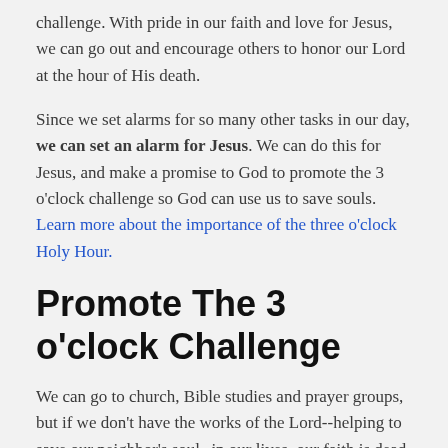challenge. With pride in our faith and love for Jesus, we can go out and encourage others to honor our Lord at the hour of His death.
Since we set alarms for so many other tasks in our day, we can set an alarm for Jesus. We can do this for Jesus, and make a promise to God to promote the 3 o'clock challenge so God can use us to save souls. Learn more about the importance of the three o'clock Holy Hour.
Promote The 3 o'clock Challenge
We can go to church, Bible studies and prayer groups, but if we don't have the works of the Lord--helping to save our neighbor's soul--in our lives, our faith is dead just as the Bible says (cf. James 2:14-26).